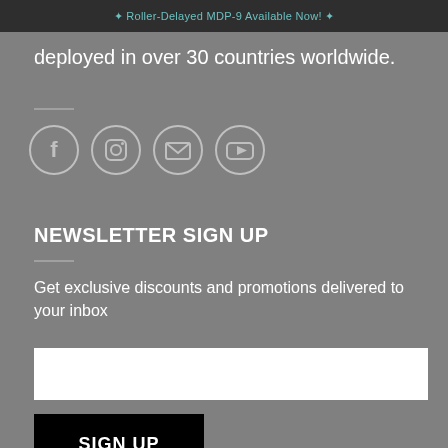✦ Roller-Delayed MDP-9 Available Now! ✦
deployed in over 30 countries worldwide.
[Figure (illustration): Four social media icon circles: Facebook, Instagram, Email/Envelope, YouTube]
NEWSLETTER SIGN UP
Get exclusive discounts and promotions delivered to your inbox
[email input field]
SIGN UP